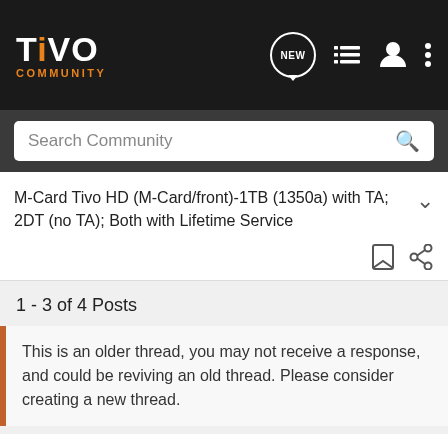TiVO COMMUNITY
Search Community
M-Card Tivo HD (M-Card/front)-1TB (1350a) with TA; 2DT (no TA); Both with Lifetime Service
1 - 3 of 4 Posts
This is an older thread, you may not receive a response, and could be reviving an old thread. Please consider creating a new thread.
Join the discussion
Continue with Facebook